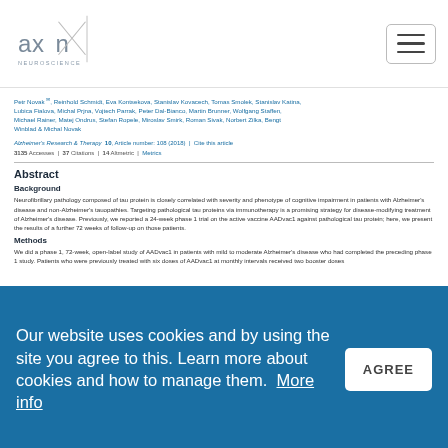Axon Neuroscience logo and navigation
Petr Novak, Reinhold Schmidt, Eva Kontsekova, Stanislav Kovacech, Tomas Smolek, Stanislav Katina, Lubica Fialova, Michal Prjna, Vojtech Parrak, Peter Dal-Bianco, Martin Brunner, Wolfgang Staffen, Michael Rainer, Matej Ondrus, Stefan Ropele, Miroslav Smirk, Roman Sivak, Norbert Zilka, Bengt Winblad & Michal Novak
Alzheimer's Research & Therapy 10, Article number: 108 (2018) | Cite this article
3135 Accesses | 37 Citations | 14 Altmetric | Metrics
Abstract
Background
Neurofibrillary pathology composed of tau protein is closely correlated with severity and phenotype of cognitive impairment in patients with Alzheimer's disease and non-Alzheimer's tauopathies. Targeting pathological tau proteins via immunotherapy is a promising strategy for disease-modifying treatment of Alzheimer's disease. Previously, we reported a 24-week phase 1 trial on the active vaccine AADvac1 against pathological tau protein; here, we present the results of a further 72 weeks of follow-up on those patients.
Methods
We did a phase 1, 72-week, open-label study of AADvac1 in patients with mild to moderate Alzheimer's disease who had completed the preceding phase 1 study. Patients who were previously treated with six doses of AADvac1 at monthly intervals received two booster doses
Our website uses cookies and by using the site you agree to this. Learn more about cookies and how to manage them. More info